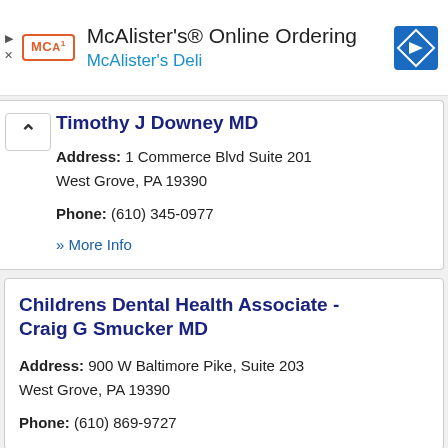[Figure (other): McAlister's Online Ordering advertisement banner with MCA logo, text 'McAlister's® Online Ordering' and 'McAlister's Deli', and a blue navigation diamond icon]
Timothy J Downey MD
Address: 1 Commerce Blvd Suite 201 West Grove, PA 19390
Phone: (610) 345-0977
» More Info
Childrens Dental Health Associate - Craig G Smucker MD
Address: 900 W Baltimore Pike, Suite 203 West Grove, PA 19390
Phone: (610) 869-9727